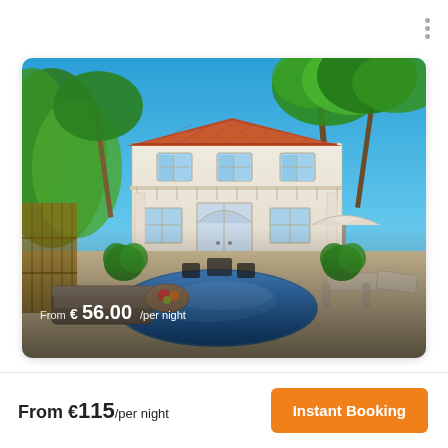[Figure (photo): Exterior photo of a Mediterranean-style villa with palm trees, a swimming pool, and outdoor lounge furniture. Text overlay: 'From €56.00/per night'.]
From €115/per night
Instant Booking